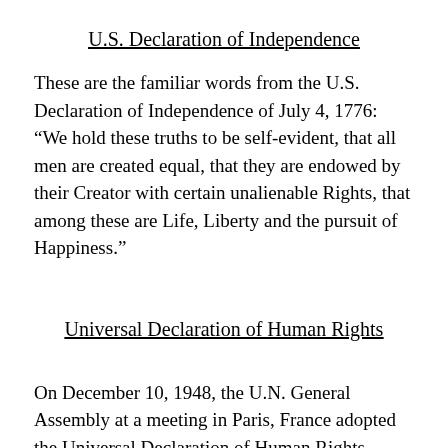U.S. Declaration of Independence
These are the familiar words from the U.S. Declaration of Independence of July 4, 1776: “We hold these truths to be self-evident, that all men are created equal, that they are endowed by their Creator with certain unalienable Rights, that among these are Life, Liberty and the pursuit of Happiness.”
Universal Declaration of Human Rights
On December 10, 1948, the U.N. General Assembly at a meeting in Paris, France adopted the Universal Declaration of Human Rights (UDHR) by a vote of 48-0. Eight countries abstained: the Soviet Union, five members of the Soviet bloc (Byelorussia, Czechoslovakia, Poland, Ukraine and Yugoslavia), South Africa and Saudi Arabia. The other two U.N. members at the time were absent and